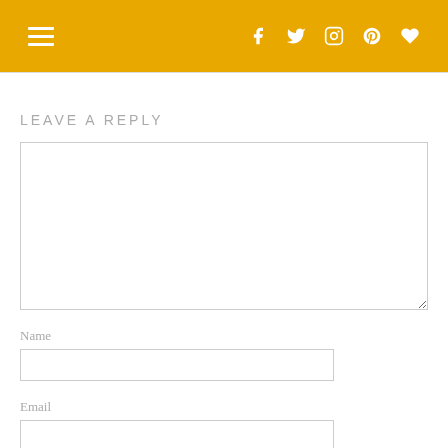Navigation and social icons header bar
LEAVE A REPLY
[Figure (other): Large comment text area input box]
Name
[Figure (other): Name text input field]
Email
[Figure (other): Email text input field]